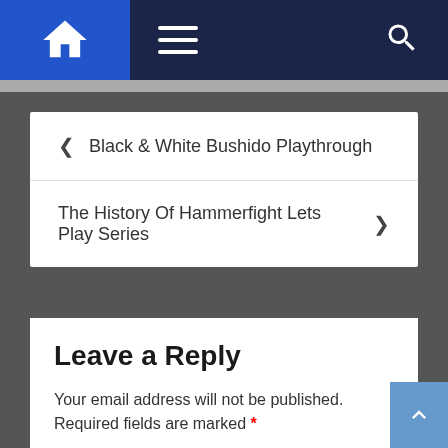Navigation bar with home icon, menu icon, and search icon
◂ Black & White Bushido Playthrough
The History Of Hammerfight Lets Play Series ▸
Leave a Reply
Your email address will not be published. Required fields are marked *
Comment